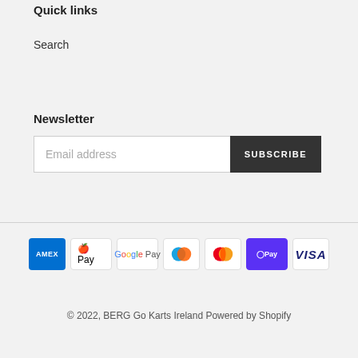Quick links
Search
Newsletter
[Figure (other): Email address input field with Subscribe button]
[Figure (other): Payment method icons: American Express, Apple Pay, Google Pay, Maestro, Mastercard, Shop Pay, Visa]
© 2022, BERG Go Karts Ireland Powered by Shopify